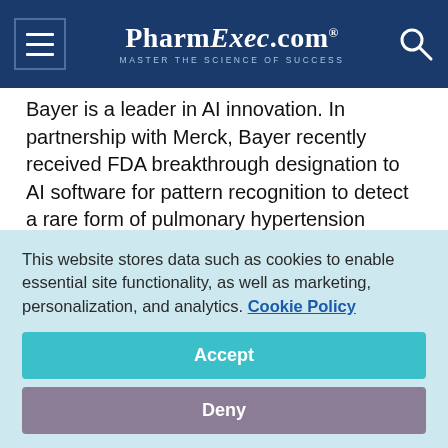PharmExec.com — MASTER THE SCIENCE OF SUCCESS
Bayer is a leader in AI innovation. In partnership with Merck, Bayer recently received FDA breakthrough designation to AI software for pattern recognition to detect a rare form of pulmonary hypertension called CTEPH (or chronic thromboembolic pulmonary hypertension) which affects about five million people worldwide. The company is also leveraging AI to support the commercialization of products across its portfolio in many key markets globally. The solution provides its sales and marketing team with valuable
This website stores data such as cookies to enable essential site functionality, as well as marketing, personalization, and analytics. Cookie Policy
Accept
Deny